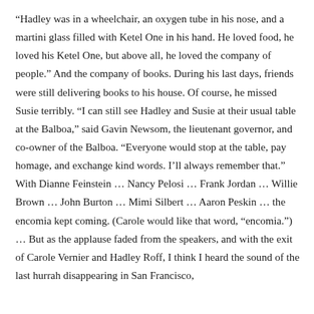“Hadley was in a wheelchair, an oxygen tube in his nose, and a martini glass filled with Ketel One in his hand. He loved food, he loved his Ketel One, but above all, he loved the company of people.” And the company of books. During his last days, friends were still delivering books to his house. Of course, he missed Susie terribly. “I can still see Hadley and Susie at their usual table at the Balboa,” said Gavin Newsom, the lieutenant governor, and co-owner of the Balboa. “Everyone would stop at the table, pay homage, and exchange kind words. I’ll always remember that.” With Dianne Feinstein … Nancy Pelosi … Frank Jordan … Willie Brown … John Burton … Mimi Silbert … Aaron Peskin … the encomia kept coming. (Carole would like that word, “encomia.”) … But as the applause faded from the speakers, and with the exit of Carole Vernier and Hadley Roff, I think I heard the sound of the last hurrah disappearing in San Francisco,